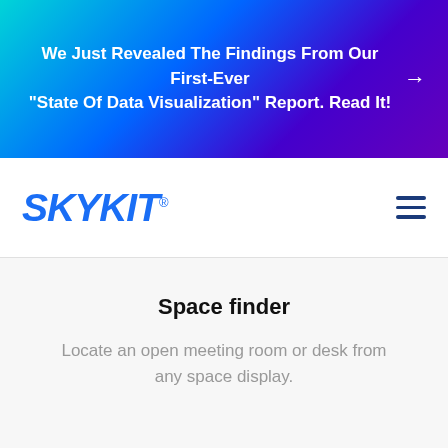We Just Revealed The Findings From Our First-Ever "State Of Data Visualization" Report. Read It!
[Figure (logo): Skykit logo in bold italic blue text with registered trademark symbol]
Space finder
Locate an open meeting room or desk from any space display.
[Figure (illustration): Pink/red gradient circular chat button with speech bubble icon in bottom right corner]